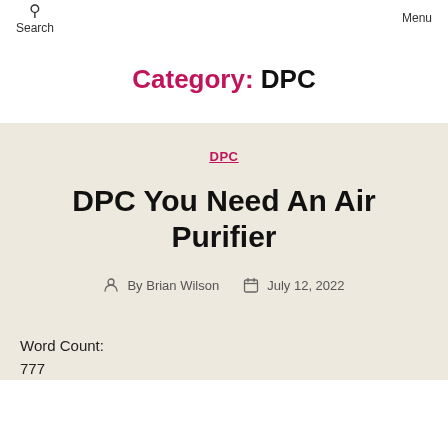Search   Menu
Category: DPC
DPC
DPC You Need An Air Purifier
By Brian Wilson   July 12, 2022
Word Count:
777